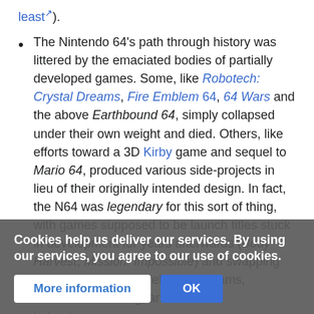least [external link]).
The Nintendo 64's path through history was littered by the emaciated bodies of partially developed games. Some, like Robotech: Crystal Dreams, Fire Emblem 64, 64 Wars and the above Earthbound 64, simply collapsed under their own weight and died. Others, like efforts toward a 3D Kirby game and sequel to Mario 64, produced various side-projects in lieu of their originally intended design. In fact, the N64 was legendary for this sort of thing, with games supposed to be launch titles stuck in development for years afterwards (Body Harvest, Mission: Impossible) and swapping between multiple development teams, executive meddling, and ... helped the flagging fortunes of the system as gamers frustrated by the long s... abandoned Nintendo for the more reliable PlayStation lineup.
Cookies help us deliver our services. By using our services, you agree to our use of cookies. More information | OK